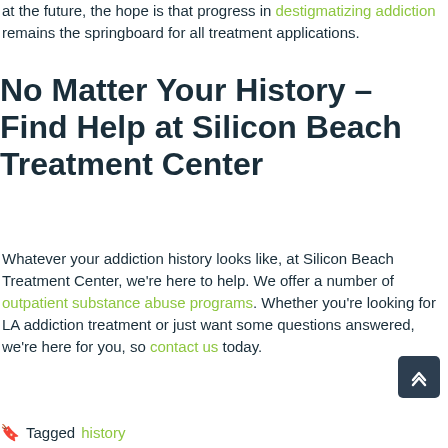at the future, the hope is that progress in destigmatizing addiction remains the springboard for all treatment applications.
No Matter Your History – Find Help at Silicon Beach Treatment Center
Whatever your addiction history looks like, at Silicon Beach Treatment Center, we're here to help. We offer a number of outpatient substance abuse programs. Whether you're looking for LA addiction treatment or just want some questions answered, we're here for you, so contact us today.
Tagged history